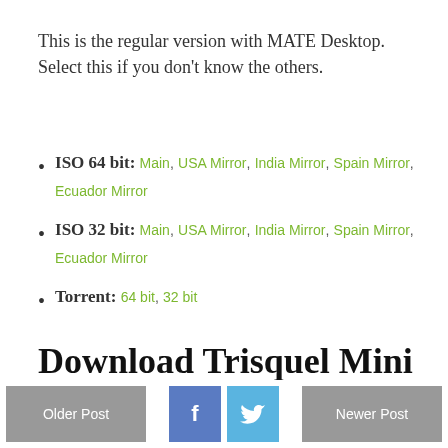This is the regular version with MATE Desktop. Select this if you don't know the others.
ISO 64 bit: Main , USA Mirror , India Mirror , Spain Mirror , Ecuador Mirror
ISO 32 bit: Main , USA Mirror , India Mirror , Spain Mirror , Ecuador Mirror
Torrent: 64 bit , 32 bit
Download Trisquel Mini
Older Post   [Facebook] [Twitter]   Newer Post